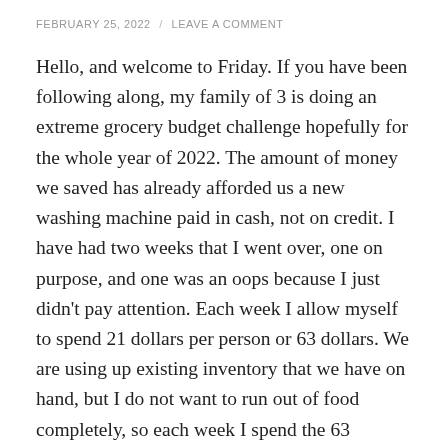FEBRUARY 25, 2022 / LEAVE A COMMENT
Hello, and welcome to Friday. If you have been following along, my family of 3 is doing an extreme grocery budget challenge hopefully for the whole year of 2022. The amount of money we saved has already afforded us a new washing machine paid in cash, not on credit. I have had two weeks that I went over, one on purpose, and one was an oops because I just didn't pay attention. Each week I allow myself to spend 21 dollars per person or 63 dollars. We are using up existing inventory that we have on hand, but I do not want to run out of food completely, so each week I spend the 63 dollars. This is only for food and does not include household items, or dog food. So far we have not had to buy any condiments, or spices, from the last Sam's Club grocery haul back in December, from this challenge, here on Workaday...